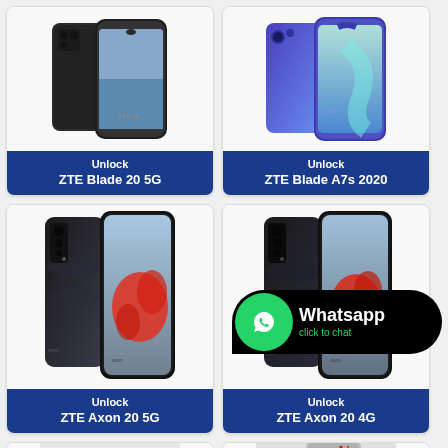[Figure (photo): ZTE Blade 20 5G smartphone product photo showing front and back views in dark color]
Unlock
ZTE Blade 20 5G
[Figure (photo): ZTE Blade A7s 2020 smartphone product photo showing front and back views in blue/purple gradient color]
Unlock
ZTE Blade A7s 2020
[Figure (photo): ZTE Axon 20 5G smartphone product photo showing front and back views with red splash design on screen]
Unlock
ZTE Axon 20 5G
[Figure (photo): ZTE Axon 20 4G smartphone product photo showing front and back views with red splash design on screen]
Unlock
ZTE Axon 20 4G
[Figure (photo): Mechanical device/gadget in bottom left card]
[Figure (photo): ZTE phone in bottom right card partially obscured by WhatsApp overlay]
[Figure (infographic): WhatsApp click to chat overlay button with green WhatsApp icon and text 'Whatsapp click to chat']